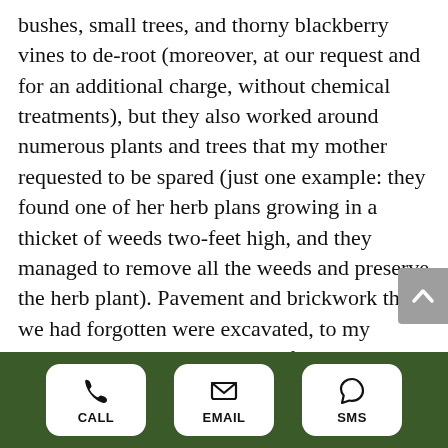bushes, small trees, and thorny blackberry vines to de-root (moreover, at our request and for an additional charge, without chemical treatments), but they also worked around numerous plants and trees that my mother requested to be spared (just one example: they found one of her herb plans growing in a thicket of weeds two-feet high, and they managed to remove all the weeds and preserve the herb plant). Pavement and brickwork that we had forgotten were excavated, to my mother's delight. A huge pile of old and broken gardenware and accessories were thrown out, while the good stuff was kindly put under the patio. The pit in our front yard was extracted of some rocks and filled